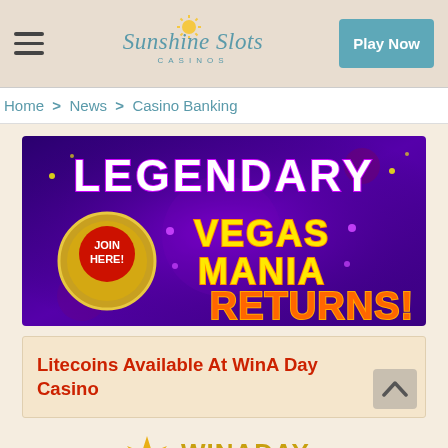Sunshine Slots Casinos — Play Now
Home > News > Casino Banking
[Figure (illustration): Promotional banner for 'Legendary Vegas Mania Returns!' casino game with a JOIN HERE button, featuring neon letters on a purple/gold background.]
Litecoins Available At WinA Day Casino
[Figure (logo): WinADay Casino logo — gold sun icon with 'WINADAY' in gold letters and 'CASINO' below.]